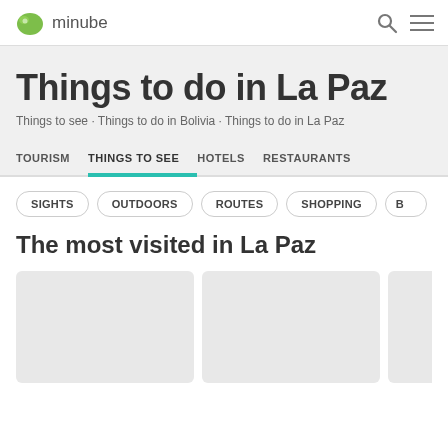minube
Things to do in La Paz
Things to see · Things to do in Bolivia · Things to do in La Paz
TOURISM
THINGS TO SEE
HOTELS
RESTAURANTS
SIGHTS
OUTDOORS
ROUTES
SHOPPING
The most visited in La Paz
[Figure (photo): Three image cards showing tourist attractions in La Paz (placeholder images)]